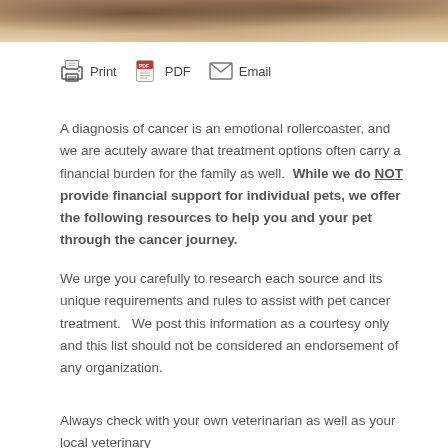[Figure (photo): Close-up photo strip of a dog or pet animal, warm brown tones, shown at top of page]
Print   PDF   Email
A diagnosis of cancer is an emotional rollercoaster, and we are acutely aware that treatment options often carry a financial burden for the family as well.  While we do NOT provide financial support for individual pets, we offer the following resources to help you and your pet through the cancer journey.
We urge you carefully to research each source and its unique requirements and rules to assist with pet cancer treatment.   We post this information as a courtesy only and this list should not be considered an endorsement of any organization.
Always check with your own veterinarian as well as your local veterinary